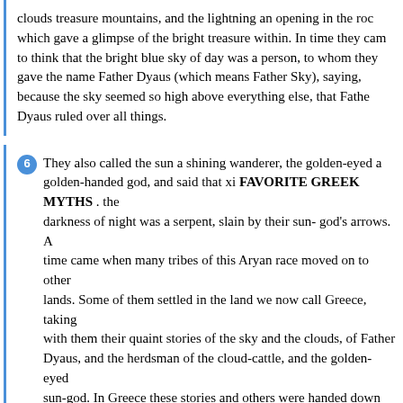clouds treasure mountains, and the lightning an opening in the rock which gave a glimpse of the bright treasure within. In time they came to think that the bright blue sky of day was a person, to whom they gave the name Father Dyaus (which means Father Sky), saying, because the sky seemed so high above everything else, that Father Dyaus ruled over all things.
6 They also called the sun a shining wanderer, the golden-eyed and golden-handed god, and said that xi FAVORITE GREEK MYTHS . the darkness of night was a serpent, slain by their sun- god's arrows. A time came when many tribes of this Aryan race moved on to other lands. Some of them settled in the land we now call Greece, taking with them their quaint stories of the sky and the clouds, of Father Dyaus, and the herdsman of the cloud-cattle, and the golden- eyed sun-god. In Greece these stories and others were handed down from one generation to another through thou- sands of years; and while those who told these stories undoubtedly believed that every word was true, and took great pains to tell them exactly as they had heard them, yet in time the stories changed and grew.
7 After the Aryan tribes who moved into Greece had lived in that country for a long time, they forgot that Father Dyaus (Dyaus pitar) was the old and great god, for all they had to tell of him was of Fathe...